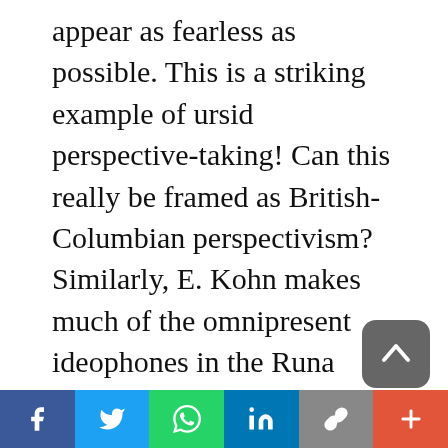appear as fearless as possible. This is a striking example of ursid perspective-taking! Can this really be framed as British-Columbian perspectivism? Similarly, E. Kohn makes much of the omnipresent ideophones in the Runa language. But what, then, of the rich ideophonic system of the Japanese language? [10] And why not also point out that Pyrenean hunters make copious use of ideophones? [11] E. Kohn also sees an example of the Runa taking a bird's perspective in the scarecrows (or 'scare-parakeets') they place in their cornfields (p. 89). But do Western farmers
Share bar: Facebook, Twitter, WhatsApp, LinkedIn, Copy link, More